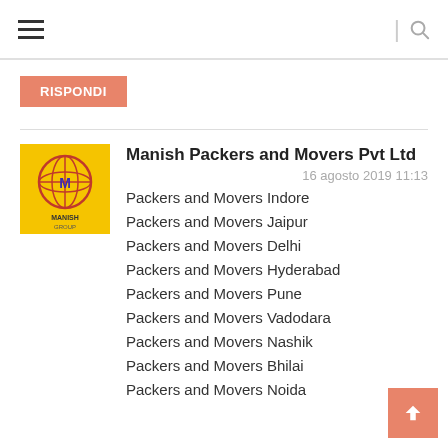≡  | 🔍
RISPONDI
Manish Packers and Movers Pvt Ltd
16 agosto 2019 11:13
Packers and Movers Indore
Packers and Movers Jaipur
Packers and Movers Delhi
Packers and Movers Hyderabad
Packers and Movers Pune
Packers and Movers Vadodara
Packers and Movers Nashik
Packers and Movers Bhilai
Packers and Movers Noida